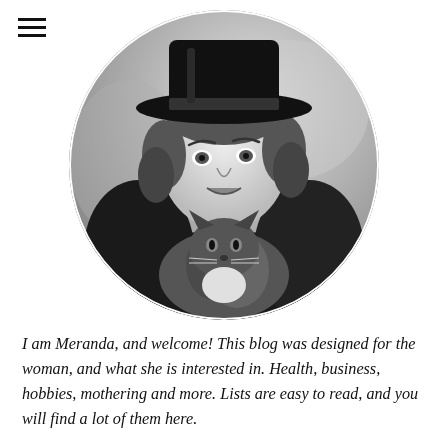[Figure (photo): Black and white circular portrait photo of a woman wearing a wide-brimmed hat and lace dress, holding a fluffy cat. The woman looks upward with a composed expression. The background is softly blurred.]
I am Meranda, and welcome! This blog was designed for the woman, and what she is interested in. Health, business, hobbies, mothering and more. Lists are easy to read, and you will find a lot of them here.